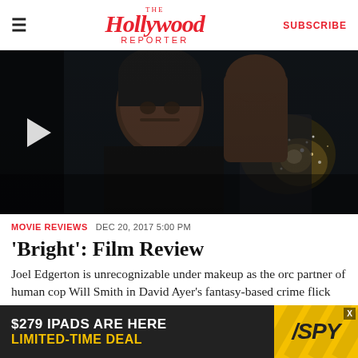The Hollywood Reporter | SUBSCRIBE
[Figure (photo): Movie still from Bright: dark scene with Will Smith as a police officer in the foreground, close-up face, dramatic lighting with sparks in the background. A play button overlay is visible on the left.]
MOVIE REVIEWS  DEC 20, 2017 5:00 PM
'Bright': Film Review
Joel Edgerton is unrecognizable under makeup as the orc partner of human cop Will Smith in David Ayer's fantasy-based crime flick 'Bright,' a pricey Netflix
[Figure (photo): Advertisement banner: '$279 IPADS ARE HERE / LIMITED-TIME DEAL' with SPY logo on yellow background]